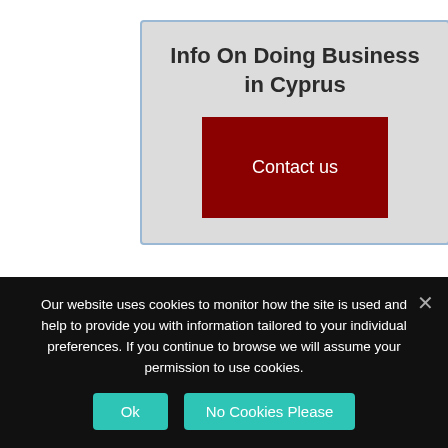[Figure (screenshot): Info box with light gray background and blue border containing title 'Info On Doing Business in Cyprus' and a dark red 'Contact us' button]
CATEGORIES
Our website uses cookies to monitor how the site is used and help to provide you with information tailored to your individual preferences. If you continue to browse we will assume your permission to use cookies.